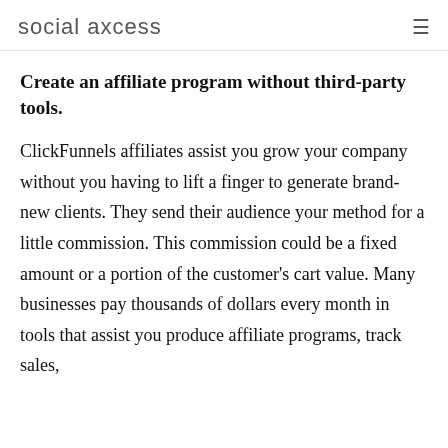social axcess
Create an affiliate program without third-party tools.
ClickFunnels affiliates assist you grow your company without you having to lift a finger to generate brand-new clients. They send their audience your method for a little commission. This commission could be a fixed amount or a portion of the customer's cart value. Many businesses pay thousands of dollars every month in tools that assist you produce affiliate programs, track sales,